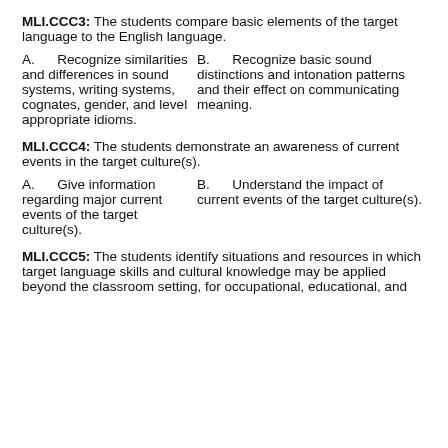MLI.CCC3: The students compare basic elements of the target language to the English language.
A. Recognize similarities and differences in sound systems, writing systems, cognates, gender, and level appropriate idioms.
B. Recognize basic sound distinctions and intonation patterns and their effect on communicating meaning.
MLI.CCC4: The students demonstrate an awareness of current events in the target culture(s).
A. Give information regarding major current events of the target culture(s).
B. Understand the impact of current events of the target culture(s).
MLI.CCC5: The students identify situations and resources in which target language skills and cultural knowledge may be applied beyond the classroom setting, for occupational, educational, and...